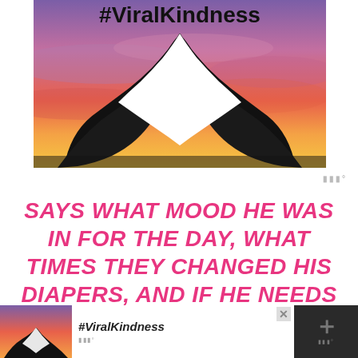[Figure (photo): A social media post image showing #ViralKindness hashtag text at the top over a photo of two hands forming a heart shape silhouetted against a colorful sunset sky with purple and orange hues]
SAYS WHAT MOOD HE WAS IN FOR THE DAY, WHAT TIMES THEY CHANGED HIS DIAPERS, AND IF HE NEEDS DIAPERS OR WIPES.
[Figure (screenshot): Bottom advertisement banner showing the ViralKindness image repeated with #ViralKindness text and close buttons]